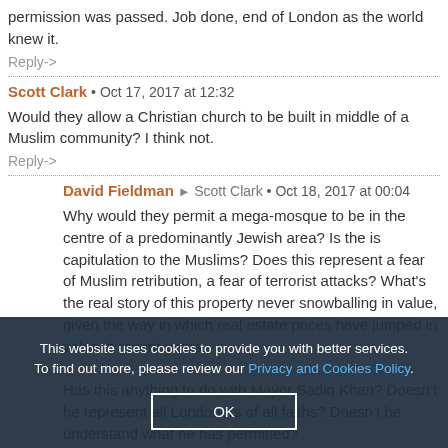permission was passed. Job done, end of London as the world knew it.
Reply->
Scott Clark • Oct 17, 2017 at 12:32
Would they allow a Christian church to be built in middle of a Muslim community? I think not.
Reply->
David Fieldman ➤ Scott Clark • Oct 18, 2017 at 00:04
Why would they permit a mega-mosque to be in the centre of a predominantly Jewish area? Is the is capitulation to the Muslims? Does this represent a fear of Muslim retribution, a fear of terrorist attacks? What's the real story of this property never snowballing in value, given the way in which real estate prices have jumped in value in recent years. Has this anything to do with Mayor Sadiq Khan? Doesn't he represent all Londoners of all faiths? Doesn't he understand what he has permitted?
Reply->
This website uses cookies to provide you with better services. To find out more, please review our Privacy and Cookies Policy.
OK